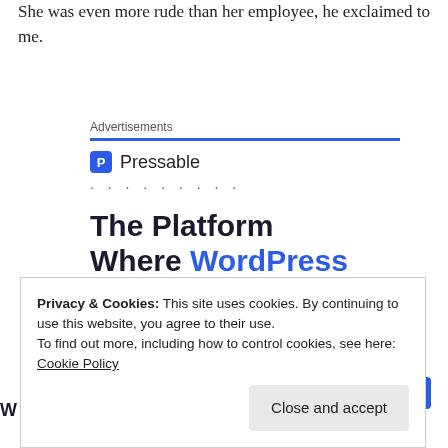She was even more rude than her employee, he exclaimed to me.
[Figure (infographic): Pressable advertisement banner with logo, dotted separator, headline 'The Platform Where WordPress Works Best', and a 'SEE PRICING' button]
Privacy & Cookies: This site uses cookies. By continuing to use this website, you agree to their use. To find out more, including how to control cookies, see here: Cookie Policy
Close and accept